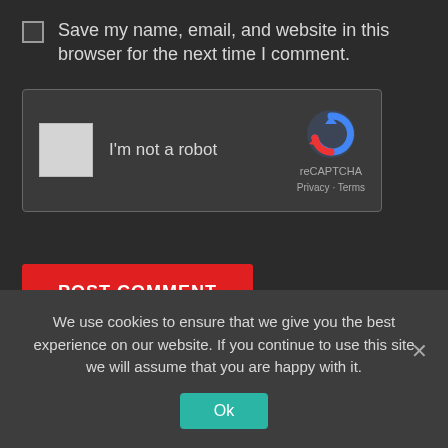Save my name, email, and website in this browser for the next time I comment.
[Figure (other): reCAPTCHA widget with checkbox 'I'm not a robot' and reCAPTCHA logo with Privacy - Terms links]
POST COMMENT
We use cookies to ensure that we give you the best experience on our website. If you continue to use this site we will assume that you are happy with it.
Ok